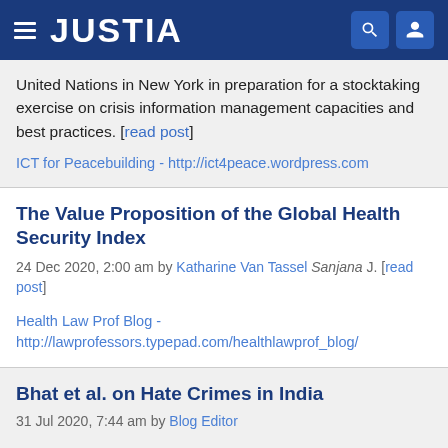JUSTIA
United Nations in New York in preparation for a stocktaking exercise on crisis information management capacities and best practices. [read post]
ICT for Peacebuilding - http://ict4peace.wordpress.com
The Value Proposition of the Global Health Security Index
24 Dec 2020, 2:00 am by Katharine Van Tassel Sanjana J. [read post]
Health Law Prof Blog - http://lawprofessors.typepad.com/healthlawprof_blog/
Bhat et al. on Hate Crimes in India